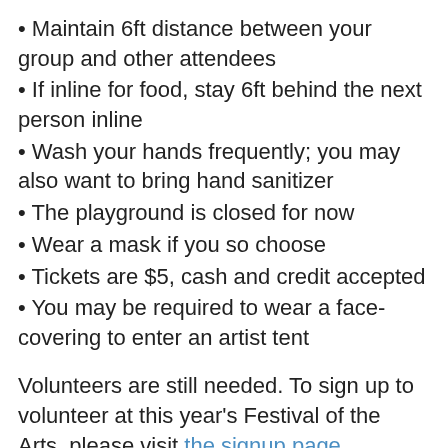Maintain 6ft distance between your group and other attendees
If inline for food, stay 6ft behind the next person inline
Wash your hands frequently; you may also want to bring hand sanitizer
The playground is closed for now
Wear a mask if you so choose
Tickets are $5, cash and credit accepted
You may be required to wear a face-covering to enter an artist tent
Volunteers are still needed. To sign up to volunteer at this year's Festival of the Arts, please visit the signup page.
To make a tax-deductible donation or provide corporate sponsorships or learn more about the